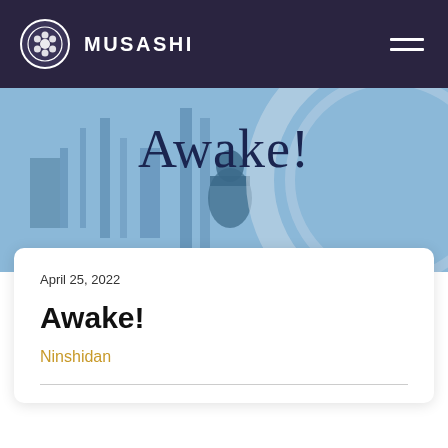MUSASHI
[Figure (photo): Hero banner image with blue tint overlay showing samurai armor and decorative circular emblem on the right. Large serif text 'Awake!' displayed over the image.]
Awake!
April 25, 2022
Awake!
Ninshidan